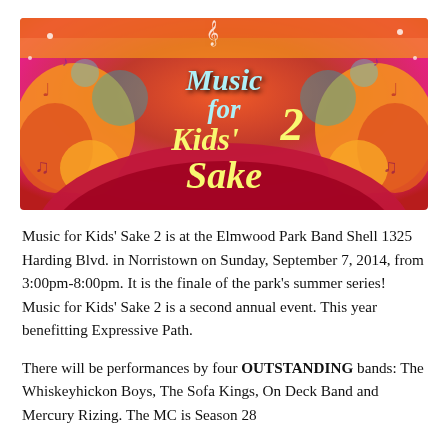[Figure (illustration): Colorful retro-style banner artwork with swirling orange, pink, red and teal decorative elements and music notes. Text reads 'Music for Kids' Sake 2' in stylized yellow and light blue lettering.]
Music for Kids' Sake 2 is at the Elmwood Park Band Shell 1325 Harding Blvd. in Norristown on Sunday, September 7, 2014, from 3:00pm-8:00pm. It is the finale of the park's summer series! Music for Kids' Sake 2 is a second annual event. This year benefitting Expressive Path.
There will be performances by four OUTSTANDING bands: The Whiskeyhickon Boys, The Sofa Kings, On Deck Band and Mercury Rizing. The MC is Season 28